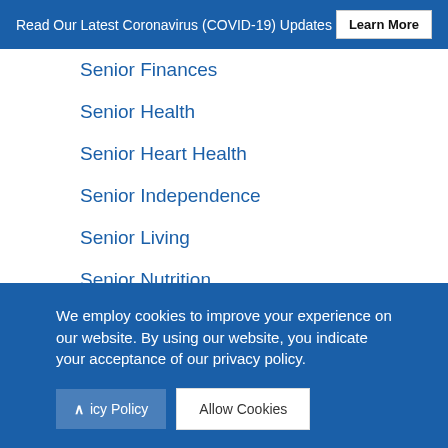Read Our Latest Coronavirus (COVID-19) Updates  Learn More
Senior Finances
Senior Health
Senior Heart Health
Senior Independence
Senior Living
Senior Nutrition
Support groups
We employ cookies to improve your experience on our website. By using our website, you indicate your acceptance of our privacy policy.
icy Policy   Allow Cookies